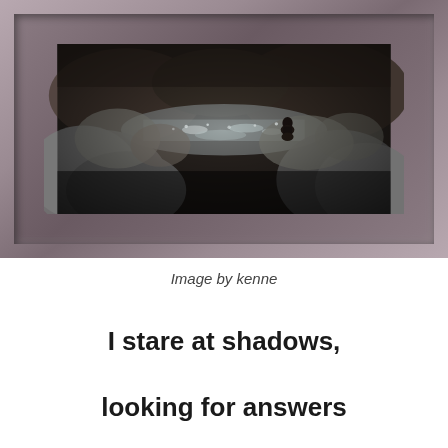[Figure (photo): A framed photograph showing a person crouching among rocks near a reflective stream or river, shot with tilt-shift/shallow depth of field effect. The scene shows large boulders in the foreground blurred, with a small human silhouette visible in the mid-ground. The photo is displayed in a decorative gray-mauve picture frame.]
Image by kenne
I stare at shadows,
looking for answers